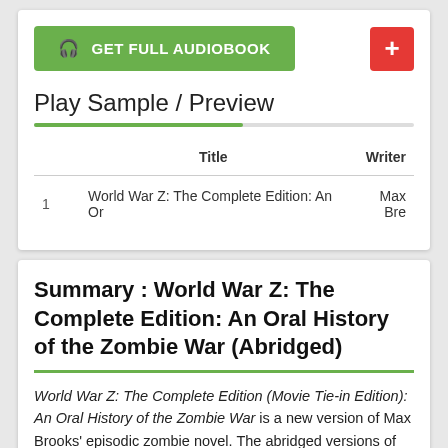[Figure (screenshot): Green button labeled GET FULL AUDIOBOOK with headphone icon, and a red plus button on the right]
Play Sample / Preview
|  | Title | Writer |
| --- | --- | --- |
| 1 | World War Z: The Complete Edition: An Or | Max Bre |
Summary : World War Z: The Complete Edition: An Oral History of the Zombie War (Abridged)
World War Z: The Complete Edition (Movie Tie-in Edition): An Oral History of the Zombie War is a new version of Max Brooks' episodic zombie novel. The abridged versions of the original stories are now joined with new, unabridged recordings of the episodes that were not included in the original (abridged)